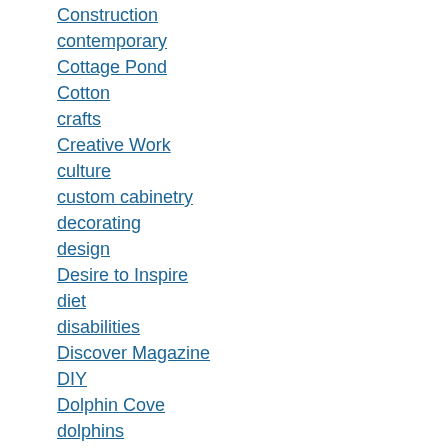Construction
contemporary
Cottage Pond
Cotton
crafts
Creative Work
culture
custom cabinetry
decorating
design
Desire to Inspire
diet
disabilities
Discover Magazine
DIY
Dolphin Cove
dolphins
Donna Karan
doors